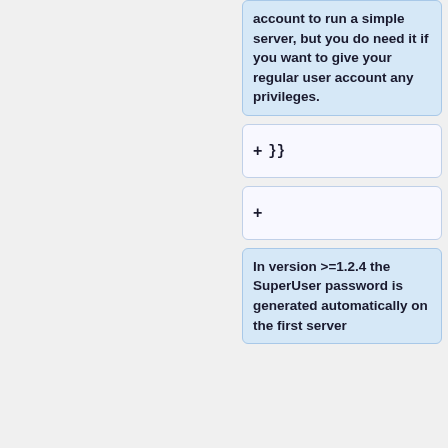account to run a simple server, but you do need it if you want to give your regular user account any privileges.
}}
In version >=1.2.4 the SuperUser password is generated automatically on the first server